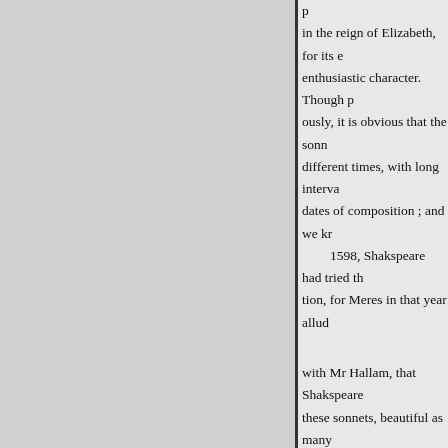in the reign of Elizabeth, for its enthusiastic character. Though previously, it is obvious that the sonnets were written at different times, with long intervals between the dates of composition ; and we kn 1598, Shakspeare had tried this tion, for Meres in that year alluded with Mr Hallam, that Shakspeare these sonnets, beautiful as many language and imagery. They represent a character foreign to that in which him, as modest, virtuous, self-contained, independent. His excessive and elaborate praise of youthful beauty in a man seems contrary to genius, and savours of adulation.